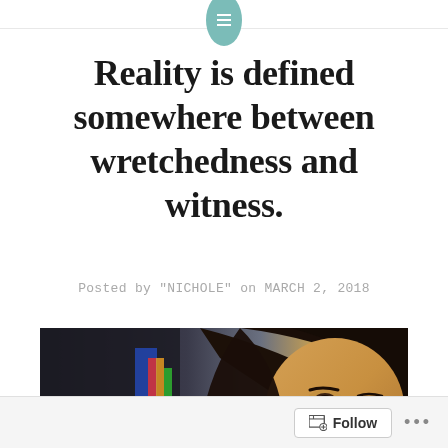Reality is defined somewhere between wretchedness and witness.
Posted by "NICHOLE" on MARCH 2, 2018
[Figure (photo): A close-up selfie photo of a young woman with long dark hair and brown eyes, with colorful clothing visible in the background.]
Follow